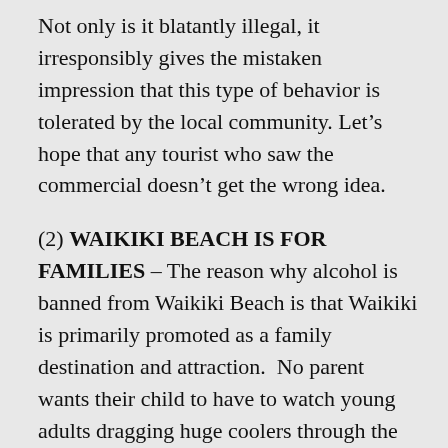Not only is it blatantly illegal, it irresponsibly gives the mistaken impression that this type of behavior is tolerated by the local community. Let’s hope that any tourist who saw the commercial doesn’t get the wrong idea.
(2) WAIKIKI BEACH IS FOR FAMILIES – The reason why alcohol is banned from Waikiki Beach is that Waikiki is primarily promoted as a family destination and attraction. No parent wants their child to have to watch young adults dragging huge coolers through the sand and partying drunk while half naked. Waikiki Beach is not a spring break party destination like Cancun (and we would never want it to be).